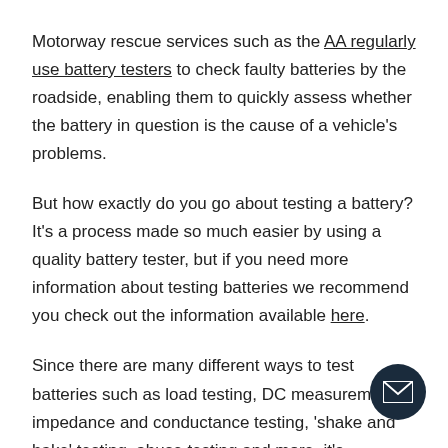Motorway rescue services such as the AA regularly use battery testers to check faulty batteries by the roadside, enabling them to quickly assess whether the battery in question is the cause of a vehicle's problems.
But how exactly do you go about testing a battery? It's a process made so much easier by using a quality battery tester, but if you need more information about testing batteries we recommend you check out the information available here.
Since there are many different ways to test batteries such as load testing, DC measurements, impedance and conductance testing, 'shake and bake' testing, abuse testing and more, it's important to get a tester that is perfect for the type of battery testing you need to